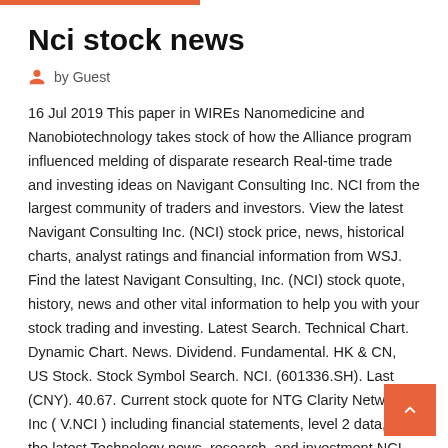Nci stock news
by Guest
16 Jul 2019 This paper in WIREs Nanomedicine and Nanobiotechnology takes stock of how the Alliance program influenced melding of disparate research Real-time trade and investing ideas on Navigant Consulting Inc. NCI from the largest community of traders and investors. View the latest Navigant Consulting Inc. (NCI) stock price, news, historical charts, analyst ratings and financial information from WSJ. Find the latest Navigant Consulting, Inc. (NCI) stock quote, history, news and other vital information to help you with your stock trading and investing. Latest Search. Technical Chart. Dynamic Chart. News. Dividend. Fundamental. HK & CN, US Stock. Stock Symbol Search. NCI. (601336.SH). Last (CNY). 40.67. Current stock quote for NTG Clarity Networks Inc ( V.NCI ) including financial statements, level 2 data, and the latest Technology news, research, and investment NCI (Common